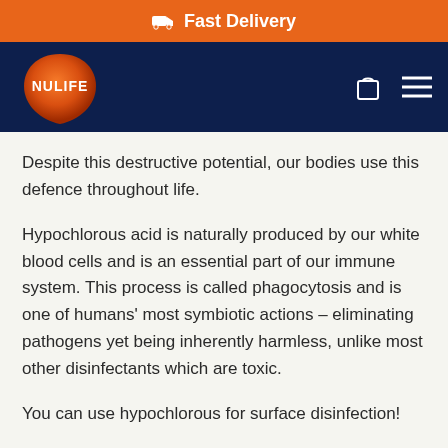🚚 Fast Delivery
[Figure (logo): NULIFE logo — orange teardrop/shield shape with white text 'NULIFE' inside]
Despite this destructive potential, our bodies use this defence throughout life.
Hypochlorous acid is naturally produced by our white blood cells and is an essential part of our immune system. This process is called phagocytosis and is one of humans' most symbiotic actions – eliminating pathogens yet being inherently harmless, unlike most other disinfectants which are toxic.
You can use hypochlorous for surface disinfection!